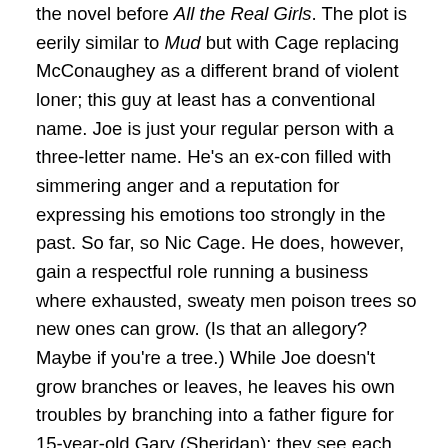the novel before All the Real Girls. The plot is eerily similar to Mud but with Cage replacing McConaughey as a different brand of violent loner; this guy at least has a conventional name. Joe is just your regular person with a three-letter name. He's an ex-con filled with simmering anger and a reputation for expressing his emotions too strongly in the past. So far, so Nic Cage. He does, however, gain a respectful role running a business where exhausted, sweaty men poison trees so new ones can grow. (Is that an allegory? Maybe if you're a tree.) While Joe doesn't grow branches or leaves, he leaves his own troubles by branching into a father figure for 15-year-old Gary (Sheridan); they see each other as themselves at different point of their lives, which turns out to be a decent way to form a meaningful connection.

Gary's desperation for a job is charged by two fears